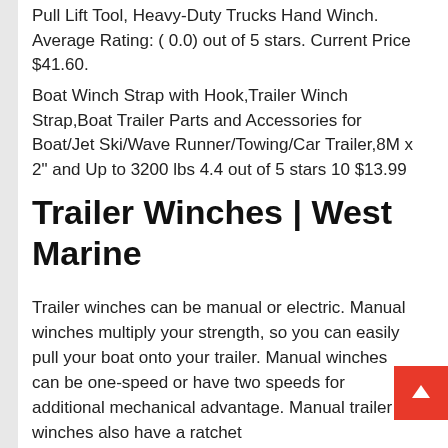Pull Lift Tool, Heavy-Duty Trucks Hand Winch. Average Rating: ( 0.0) out of 5 stars. Current Price $41.60.
Boat Winch Strap with Hook,Trailer Winch Strap,Boat Trailer Parts and Accessories for Boat/Jet Ski/Wave Runner/Towing/Car Trailer,8M x 2" and Up to 3200 lbs 4.4 out of 5 stars 10 $13.99
Trailer Winches | West Marine
Trailer winches can be manual or electric. Manual winches multiply your strength, so you can easily pull your boat onto your trailer. Manual winches can be one-speed or have two speeds for additional mechanical advantage. Manual trailer winches also have a ratchet